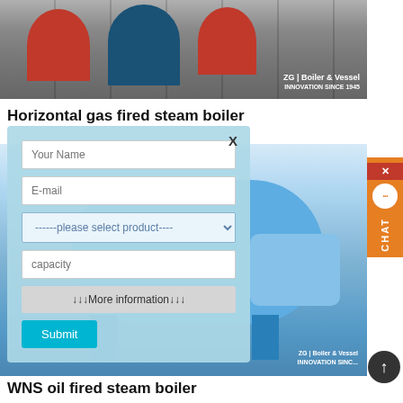[Figure (photo): Horizontal gas fired steam boilers in a factory setting, red and blue cylindrical boilers lined up with yellow fixtures, ZG Boiler & Vessel branding]
Horizontal gas fired steam boiler
[Figure (photo): WNS oil fired steam boiler - large blue horizontal boiler on stands in factory, ZG Boiler & Vessel branding]
[Figure (other): Contact form modal with fields: Your Name, E-mail, please select product dropdown, capacity, More information textarea, and Submit button]
WNS oil fired steam boiler